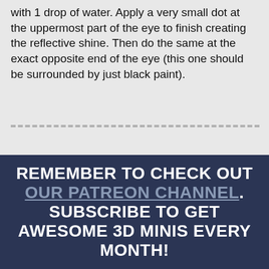with 1 drop of water. Apply a very small dot at the uppermost part of the eye to finish creating the reflective shine. Then do the same at the exact opposite end of the eye (this one should be surrounded by just black paint).
REMEMBER TO CHECK OUT OUR PATREON CHANNEL. SUBSCRIBE TO GET AWESOME 3D MINIS EVERY MONTH!